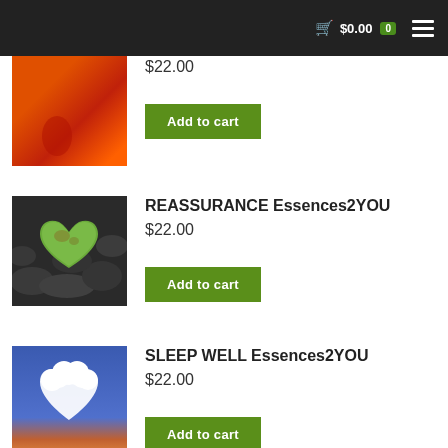$0.00  0
$22.00
Add to cart
REASSURANCE Essences2YOU
$22.00
Add to cart
SLEEP WELL Essences2YOU
$22.00
Add to cart